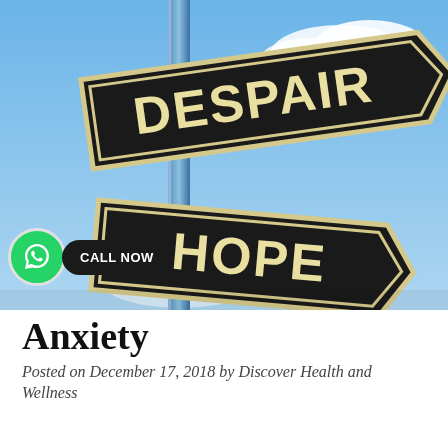[Figure (photo): Two black arrow-shaped road signs on a metal pole against a blue sky with clouds. The top sign points to the right and reads DESPAIR. The bottom sign points to the right and reads HOPE. A green WhatsApp icon button and a dark pill-shaped CALL NOW badge overlay the lower-left area of the image.]
Anxiety
Posted on December 17, 2018 by Discover Health and Wellness